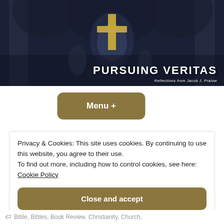[Figure (photo): Dark blue-tinted interior of a cathedral with gothic arches, statues, stained glass windows, and a prominent golden cross in the center. Text overlay reads 'PURSUING VERITAS' and 'Reflections from Jacob J. Pralow']
Menu +
Privacy & Cookies: This site uses cookies. By continuing to use this website, you agree to their use.
To find out more, including how to control cookies, see here:
Cookie Policy
Close and accept
Bible, Bibles, Book Review, Christianity, Church,